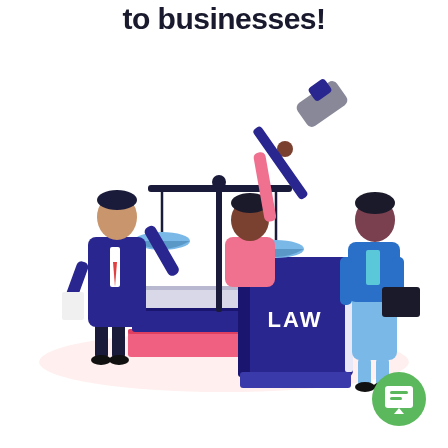to businesses!
[Figure (illustration): Legal illustration showing three figures: a lawyer in dark blue coat holding scales of justice on the left, a person in pink holding a gavel raised above a large dark blue LAW book in the center, and a woman in blue jacket holding a book on the right. A pink oval ground shadow beneath them and a stack of books (dark blue and pink) visible near the scales. Background is white.]
[Figure (logo): Green circular logo with a white book/chat icon inside, positioned bottom right.]